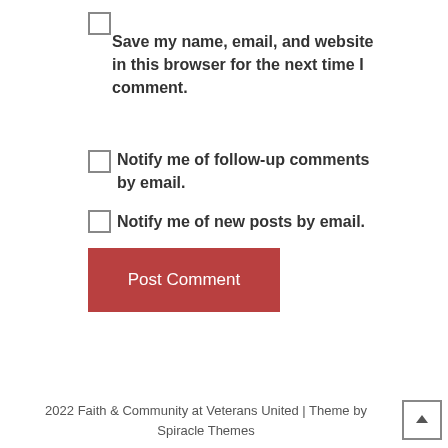Save my name, email, and website in this browser for the next time I comment.
Notify me of follow-up comments by email.
Notify me of new posts by email.
Post Comment
2022 Faith & Community at Veterans United | Theme by Spiracle Themes